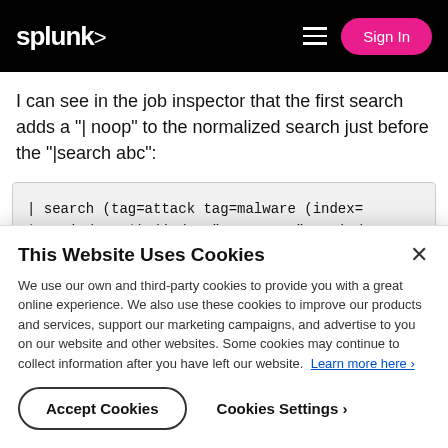splunk> Sign In
I can see in the job inspector that the first search adds a "| noop" to the normalized search just before the "|search abc":
[Figure (screenshot): Code block showing: | search (tag=attack tag=malware (index=* OR index=_*) (index="estreamer" OR index="pan" OR index="trendmicro" OR index]
This Website Uses Cookies
We use our own and third-party cookies to provide you with a great online experience. We also use these cookies to improve our products and services, support our marketing campaigns, and advertise to you on our website and other websites. Some cookies may continue to collect information after you have left our website. Learn more here ›
Accept Cookies
Cookies Settings ›